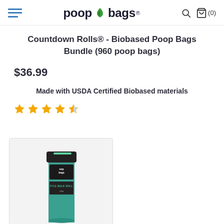poop bags® (navigation header with hamburger menu, logo, search and cart icons)
Countdown Rolls® - Biobased Poop Bags Bundle (960 poop bags)
$36.99
Made with USDA Certified Biobased materials
★★★★★ (4.5 stars)
[Figure (photo): Product photo: Poop Bags branded bulk roll packaging in teal/green and black, shown in a light gray product image box]